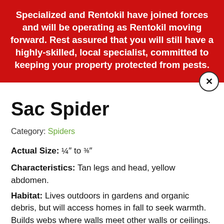Specialized and Rentokil have joined forces and will be operating as Rentokil moving forward. Rest assured that you will still have a highly-skilled, local specialist, committed to keeping your property protected from pests.
Sac Spider
Category: Spiders
Actual Size: ¼" to ⅜"
Characteristics: Tan legs and head, yellow abdomen.
Habitat: Lives outdoors in gardens and organic debris, but will access homes in fall to seek warmth. Builds webs where walls meet other walls or ceilings.